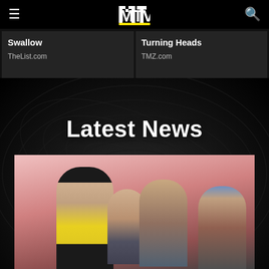MTV
Swallow
TheList.com
Turning Heads
TMZ.com
Latest News
[Figure (photo): Red Hot Chili Peppers band photo: four members posed together against a pink/red background. One member in front wearing a top hat, sunglasses, shirtless with tattoos and yellow shorts; others standing behind.]